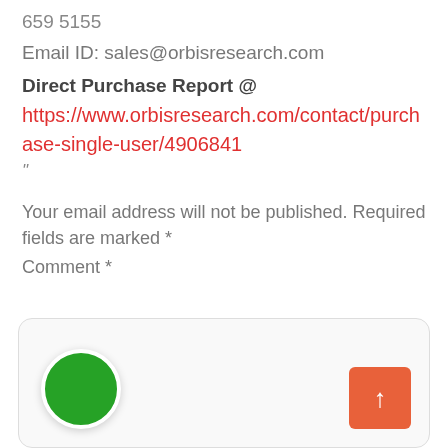659 5155
Email ID: sales@orbisresearch.com
Direct Purchase Report @
https://www.orbisresearch.com/contact/purchase-single-user/4906841
”
Your email address will not be published. Required fields are marked *
Comment *
[Figure (other): Comment input box with a green circle button on the left and an orange/red upward arrow button on the right]